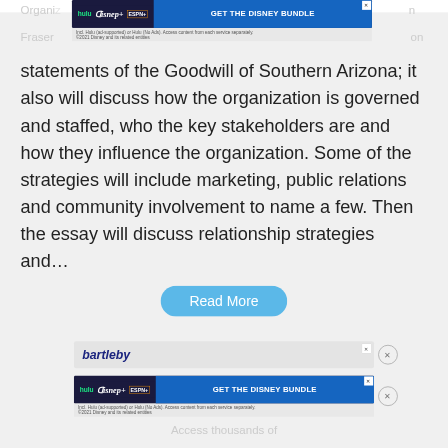[Figure (screenshot): Hulu Disney+ ESPN+ GET THE DISNEY BUNDLE advertisement banner with dark blue background and blue call-to-action button, with small print about access terms]
Organiz... Fraser... on
statements of the Goodwill of Southern Arizona; it also will discuss how the organization is governed and staffed, who the key stakeholders are and how they influence the organization. Some of the strategies will include marketing, public relations and community involvement to name a few. Then the essay will discuss relationship strategies and…
[Figure (screenshot): Read More button - rounded blue button with white text]
[Figure (screenshot): bartleby advertisement banner with close button]
[Figure (screenshot): Hulu Disney+ ESPN+ GET THE DISNEY BUNDLE advertisement banner - second instance]
Access thousands of